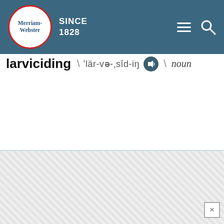Merriam-Webster SINCE 1828
larviciding \ ˈlär-və-ˌsīd-iŋ \ noun
[Figure (other): Advertisement placeholder area with hatched gray background and close (×) button in bottom-right corner]